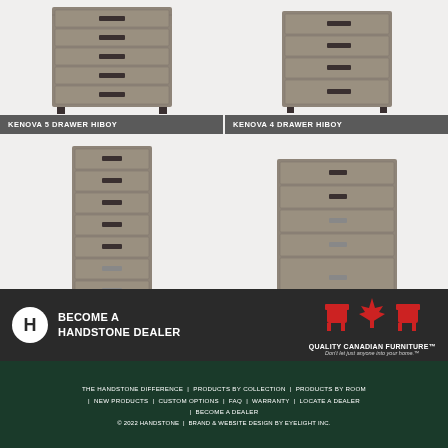[Figure (photo): Kenova 5 Drawer Hiboy dresser in grey wood finish]
KENOVA 5 DRAWER HIBOY
[Figure (photo): Kenova 4 Drawer Hiboy dresser in grey wood finish]
KENOVA 4 DRAWER HIBOY
[Figure (photo): Electra Lingerie Chest in grey wood finish with chrome legs]
ELECTRA LINGERIE CHEST
[Figure (photo): Electra 5 Drawer Hiboy dresser in grey wood finish with chrome legs]
ELECTRA 5 DRAWER HIBOY
VIEW ALL
BECOME A HANDSTONE DEALER
[Figure (logo): Quality Canadian Furniture logo with red chairs and maple leaf]
THE HANDSTONE DIFFERENCE | PRODUCTS BY COLLECTION | PRODUCTS BY ROOM | NEW PRODUCTS | CUSTOM OPTIONS | FAQ | WARRANTY | LOCATE A DEALER | BECOME A DEALER © 2022 HANDSTONE | BRAND & WEBSITE DESIGN BY EYELIGHT INC.